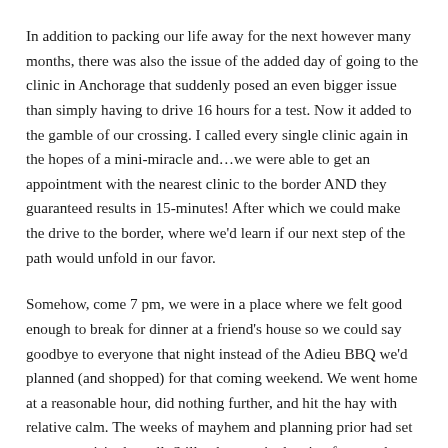In addition to packing our life away for the next however many months, there was also the issue of the added day of going to the clinic in Anchorage that suddenly posed an even bigger issue than simply having to drive 16 hours for a test. Now it added to the gamble of our crossing. I called every single clinic again in the hopes of a mini-miracle and…we were able to get an appointment with the nearest clinic to the border AND they guaranteed results in 15-minutes! After which we could make the drive to the border, where we'd learn if our next step of the path would unfold in our favor.
Somehow, come 7 pm, we were in a place where we felt good enough to break for dinner at a friend's house so we could say goodbye to everyone that night instead of the Adieu BBQ we'd planned (and shopped) for that coming weekend. We went home at a reasonable hour, did nothing further, and hit the hay with relative calm. The weeks of mayhem and planning prior had set us up surprisingly well. Still, when you're leaving for months on end there are endless things to remember and as we hadn't left for that long in